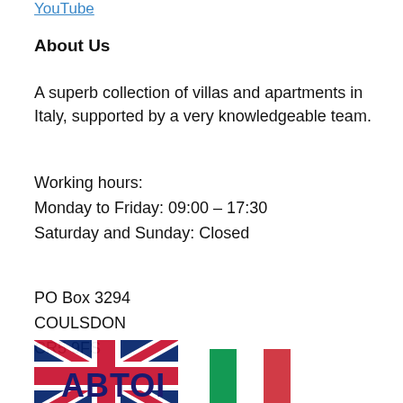YouTube
About Us
A superb collection of villas and apartments in Italy, supported by a very knowledgeable team.
Working hours:
Monday to Friday: 09:00 – 17:30
Saturday and Sunday: Closed
PO Box 3294
COULSDON
CR5 9FS
[Figure (logo): ABTOI logo with UK flag and Italian flag]